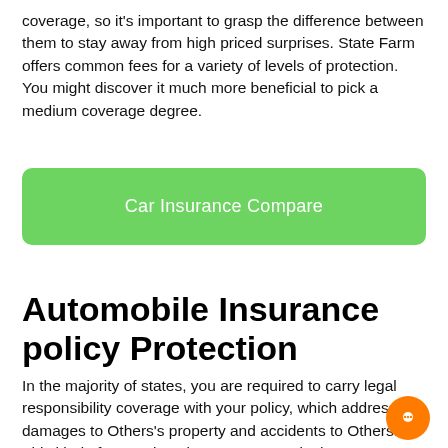coverage, so it's important to grasp the difference between them to stay away from high priced surprises. State Farm offers common fees for a variety of levels of protection. You might discover it much more beneficial to pick a medium coverage degree.
[Figure (other): Green rounded rectangle button labeled 'Car Insurance Compare']
Automobile Insurance policy Protection
In the majority of states, you are required to carry legal responsibility coverage with your policy, which addresses damages to Others's property and accidents to Others. This kind of protection also protects you in the event you trig an accident with A different driver. This protection is